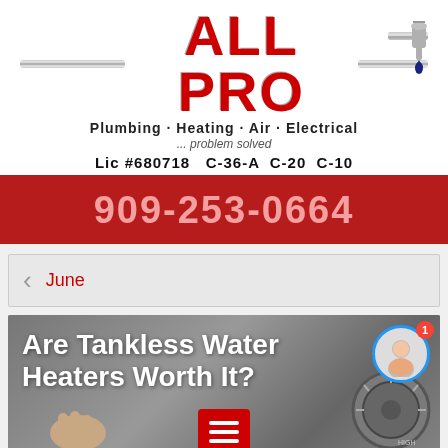[Figure (logo): All Pro Plumbing Heating Air Electrical logo with pipe and faucet graphic]
Plumbing · Heating · Air · Electrical
... problem solved
Lic #680718   C-36-A  C-20  C-10
909-253-0664
June
[Figure (photo): Article thumbnail showing tankless water heater controls with hand adjusting knob, overlaid with article title text]
Are Tankless Water Heaters Worth It?
Ju    22